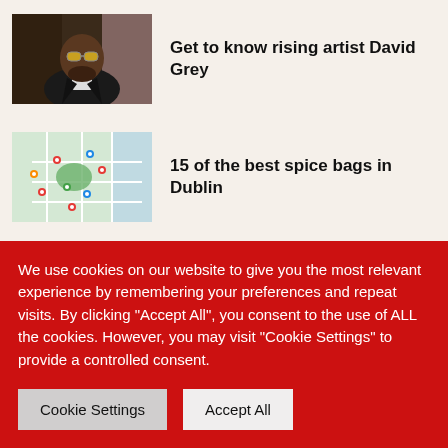[Figure (photo): Photo of a man wearing sunglasses and a leather jacket in a store]
Get to know rising artist David Grey
[Figure (map): Map of Dublin with location pins marking spice bag restaurants]
15 of the best spice bags in Dublin
[Figure (photo): Close-up photo of chocolate Easter eggs on a pink background]
THE SEASON OF EGGCITEMENT: The Unusual Hotel Chocolat. Egg Selection
We use cookies on our website to give you the most relevant experience by remembering your preferences and repeat visits. By clicking "Accept All", you consent to the use of ALL the cookies. However, you may visit "Cookie Settings" to provide a controlled consent.
Cookie Settings
Accept All